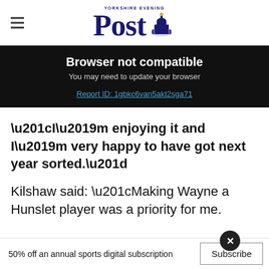Yorkshire Evening Post
Browser not compatible
You may need to update your browser
Report ID: 1gbkc6van5akt2sga71
“I’m enjoying it and I’m very happy to have got next year sorted.”
Kilshaw said: “Making Wayne a Hunslet player was a priority for me.
50% off an annual sports digital subscription  Subscribe